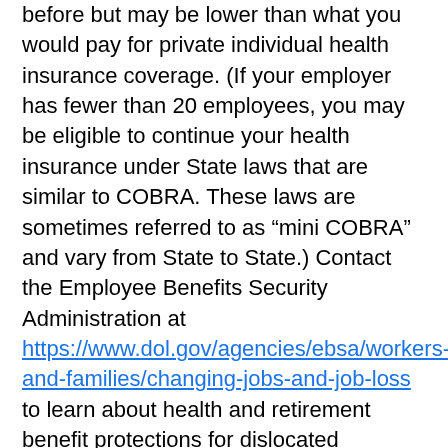before but may be lower than what you would pay for private individual health insurance coverage. (If your employer has fewer than 20 employees, you may be eligible to continue your health insurance under State laws that are similar to COBRA. These laws are sometimes referred to as “mini COBRA” and vary from State to State.) Contact the Employee Benefits Security Administration at https://www.dol.gov/agencies/ebsa/workers-and-families/changing-jobs-and-job-loss to learn about health and retirement benefit protections for dislocated workers.
If you elect to take paid sick leave,